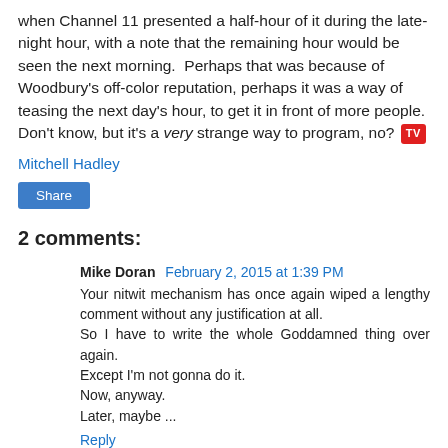when Channel 11 presented a half-hour of it during the late-night hour, with a note that the remaining hour would be seen the next morning.  Perhaps that was because of Woodbury's off-color reputation, perhaps it was a way of teasing the next day's hour, to get it in front of more people.  Don't know, but it's a very strange way to program, no? [TV]
Mitchell Hadley
Share
2 comments:
Mike Doran  February 2, 2015 at 1:39 PM
Your nitwit mechanism has once again wiped a lengthy comment without any justification at all.
So I have to write the whole Goddamned thing over again.
Except I'm not gonna do it.
Now, anyway.
Later, maybe ...
Reply